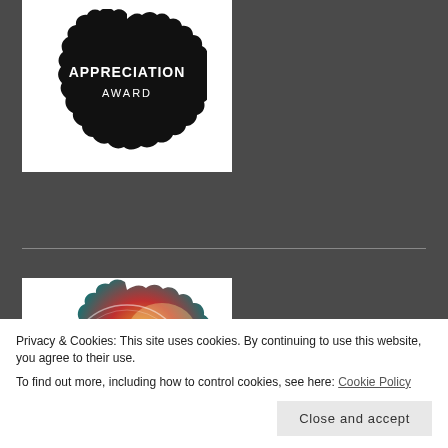[Figure (illustration): Appreciation Award badge — black scalloped circle shape with white text reading 'APPRECIATION AWARD' on a white background]
[Figure (illustration): Liebster Award badge — colorful red and teal scalloped circle with white text reading 'LIEBSTER award']
Privacy & Cookies: This site uses cookies. By continuing to use this website, you agree to their use.
To find out more, including how to control cookies, see here: Cookie Policy
Close and accept